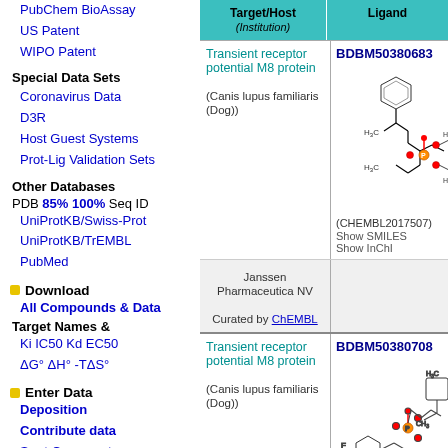PubChem BioAssay
US Patent
WIPO Patent
Special Data Sets
Coronavirus Data
D3R
Host Guest Systems
Prot-Lig Validation Sets
Other Databases
PDB 85% 100% Seq ID
UniProtKB/Swiss-Prot
UniProtKB/TrEMBL
PubMed
Download
All Compounds & Data
Target Names &
Ki IC50 Kd EC50
ΔG° ΔH° -TΔS°
Enter Data
Deposition
Contribute data
Sent Comments
| Target/Host (Institution) | Ligand |
| --- | --- |
| Transient receptor potential M8 protein
(Canis lupus familiaris (Dog)) | BDBM50380683
(CHEMBL2017507)
Show SMILES
Show InChI |
| Janssen Pharmaceutica NV
Curated by ChEMBL | [molecule image] |
| Transient receptor potential M8 protein
(Canis lupus familiaris (Dog)) | BDBM50380708 |
| Janssen Pharmaceutica NV | [molecule image] |